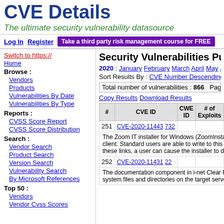CVE Details
The ultimate security vulnerability datasource
Log In  Register  Take a third party risk management course for FREE
Switch to https://
Home
Browse :
Vendors
Products
Vulnerabilities By Date
Vulnerabilities By Type
Reports :
CVSS Score Report
CVSS Score Distribution
Search :
Vendor Search
Product Search
Version Search
Vulnerability Search
By Microsoft References
Top 50 :
Vendors
Vendor Cvss Scores
Security Vulnerabilities Published In
2020 : January February March April May June July A
Sort Results By : CVE Number Descending  CVE Number Asc
Total number of vulnerabilities : 866   Page : 1 2 3 4 5
Copy Results Download Results
| # | CVE ID | CWE ID | # of Exploits | Vulnerability Type(s) |
| --- | --- | --- | --- | --- |
| 251 | CVE-2020-11443 732 |  |  |  |
|  | The Zoom IT installer for Windows (ZoomInstallerFull.ms... client. Standard users are able to write to this directory, a... these links, a user can cause the installer to delete files t... |  |  |  |
| 252 | CVE-2020-11431 22 |  |  | Dir. Trav. |
|  | The documentation component in i-net Clear Reports 16... system files and directories on the target server via Direc... |  |  |  |